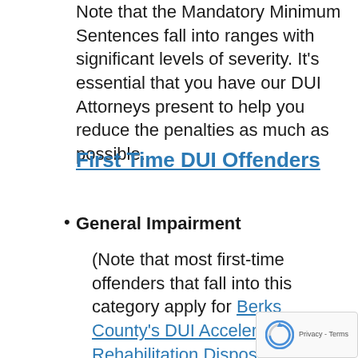Note that the Mandatory Minimum Sentences fall into ranges with significant levels of severity. It's essential that you have our DUI Attorneys present to help you reduce the penalties as much as possible.
First Time DUI Offenders
General Impairment (Note that most first-time offenders that fall into this category apply for Berks County's DUI Accelerated Rehabilitation Disposition (ARD) Program. If the District Atto... accepts you and you successfully complete the ARD Program, avoid jail